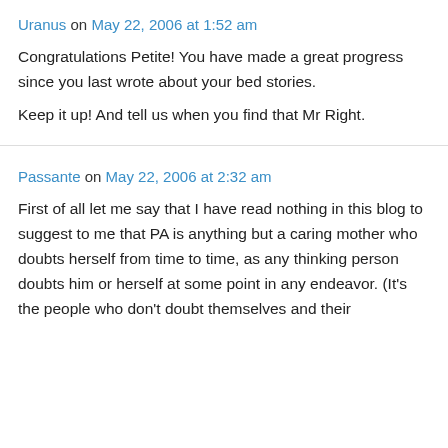Uranus on May 22, 2006 at 1:52 am
Congratulations Petite! You have made a great progress since you last wrote about your bed stories.
Keep it up! And tell us when you find that Mr Right.
Passante on May 22, 2006 at 2:32 am
First of all let me say that I have read nothing in this blog to suggest to me that PA is anything but a caring mother who doubts herself from time to time, as any thinking person doubts him or herself at some point in any endeavor. (It's the people who don't doubt themselves and their